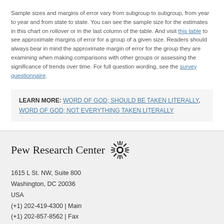Sample sizes and margins of error vary from subgroup to subgroup, from year to year and from state to state. You can see the sample size for the estimates in this chart on rollover or in the last column of the table. And visit this table to see approximate margins of error for a group of a given size. Readers should always bear in mind the approximate margin of error for the group they are examining when making comparisons with other groups or assessing the significance of trends over time. For full question wording, see the survey questionnaire.
LEARN MORE: WORD OF GOD; SHOULD BE TAKEN LITERALLY, WORD OF GOD; NOT EVERYTHING TAKEN LITERALLY
[Figure (logo): Pew Research Center sunburst logo with text]
1615 L St. NW, Suite 800
Washington, DC 20036
USA
(+1) 202-419-4300 | Main
(+1) 202-857-8562 | Fax
(+1) 202-419-4372 | Media Inquiries